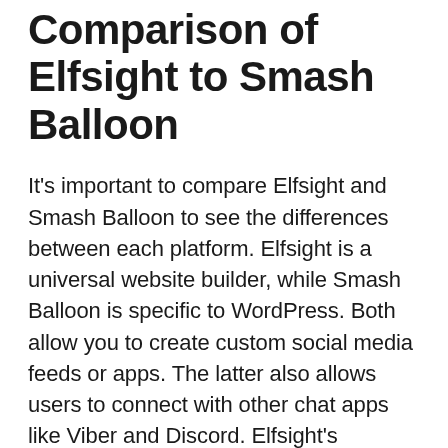Comparison of Elfsight to Smash Balloon
It's important to compare Elfsight and Smash Balloon to see the differences between each platform. Elfsight is a universal website builder, while Smash Balloon is specific to WordPress. Both allow you to create custom social media feeds or apps. The latter also allows users to connect with other chat apps like Viber and Discord. Elfsight's interface is extremely easy to use. When choosing a social management tool for social media, it is important to consider your personal preferences.